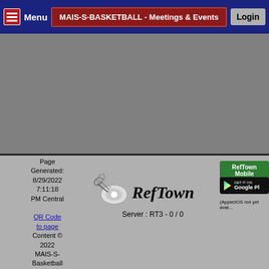MAIS-S-BASKETBALL - Meetings & Events
[Figure (screenshot): Gray content area representing a blank/loading web page section]
Page Generated: 8/29/2022 7:11:18 PM Central
QR Code to page
Content © 2022 MAIS-S-Basketball Design © 2003-2022 Camron Rust / RefTown
Terms & Conditions
[Figure (logo): RefTown logo with whistle icon and stylized RefTown text]
Server : RT3 - 0 / 0
RefTown Mobile
[Figure (screenshot): Google Play store badge - GET IT ON Google Play]
(Apple/iOS not yet avai...